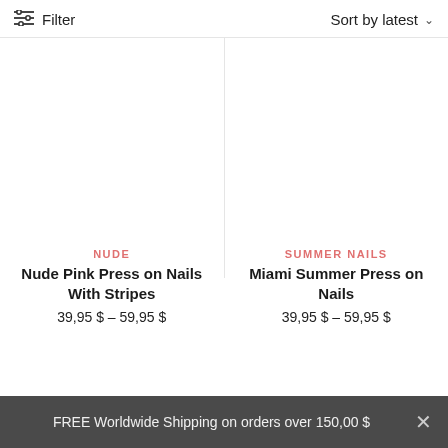Filter   Sort by latest
NUDE
Nude Pink Press on Nails With Stripes
39,95 $ – 59,95 $
SUMMER NAILS
Miami Summer Press on Nails
39,95 $ – 59,95 $
FREE Worldwide Shipping on orders over 150,00 $